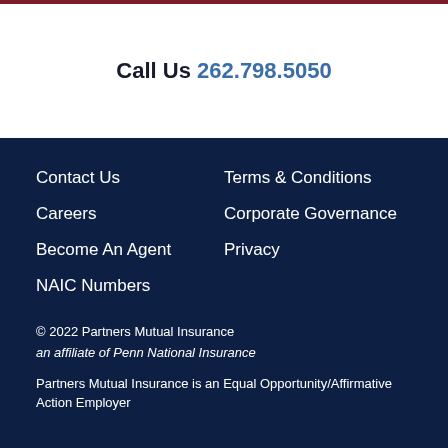Call Us 262.798.5050
Contact Us
Terms & Conditions
Careers
Corporate Governance
Become An Agent
Privacy
NAIC Numbers
© 2022 Partners Mutual Insurance an affiliate of Penn National Insurance
Partners Mutual Insurance is an Equal Opportunity/Affirmative Action Employer